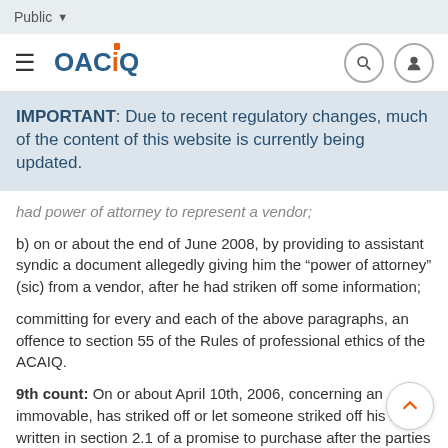Public
[Figure (logo): OACIQ logo with hamburger menu icon, search icon, and user icon in navigation bar]
IMPORTANT: Due to recent regulatory changes, much of the content of this website is currently being updated.
had power of attorney to represent a vendor;
b) on or about the end of June 2008, by providing to assistant syndic a document allegedly giving him the “power of attorney” (sic) from a vendor, after he had striken off some information;
committing for every and each of the above paragraphs, an offence to section 55 of the Rules of professional ethics of the ACAIQ.
9th count: On or about April 10th, 2006, concerning an immovable, has striked off or let someone striked off his name written in section 2.1 of a promise to purchase after the parties had signed at the bottom of the said form, the whole contrary to section 98 of the By-law of the ACAIQ.